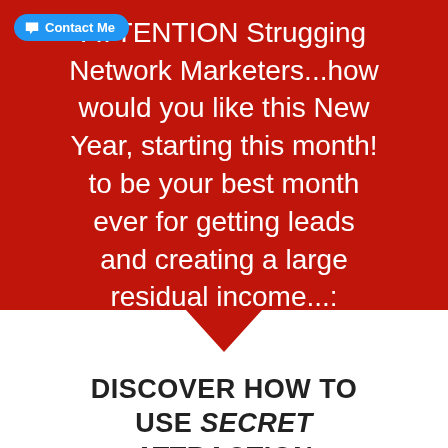[Figure (infographic): Red speech bubble / callout box with white text addressed to struggling network marketers, with a blue 'Contact Me' button in top left corner and a red downward arrow at the bottom]
ATTENTION Strugging Network Marketers...how would you like this New Year, starting this month! to be your best month ever for getting leads and creating a large residual income...:
DISCOVER HOW TO USE SECRET ATTRACTION